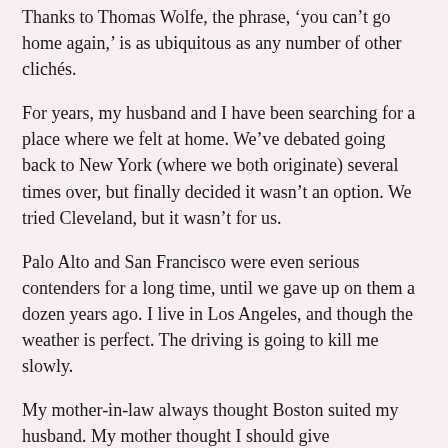Thanks to Thomas Wolfe, the phrase, 'you can't go home again,' is as ubiquitous as any number of other clichés.
For years, my husband and I have been searching for a place where we felt at home. We've debated going back to New York (where we both originate) several times over, but finally decided it wasn't an option. We tried Cleveland, but it wasn't for us.
Palo Alto and San Francisco were even serious contenders for a long time, until we gave up on them a dozen years ago. I live in Los Angeles, and though the weather is perfect. The driving is going to kill me slowly.
My mother-in-law always thought Boston suited my husband. My mother thought I should give Washington, D.C. greater consideration.
About ten years ago, after considering places as far flung as Sacramento and Denver, we decided to broaden our journey outside the United States. London, England and Edinburgh, Scotland were neck and neck for a while. Then my husband was in love with Portugal. Seoul was even in the running for a few